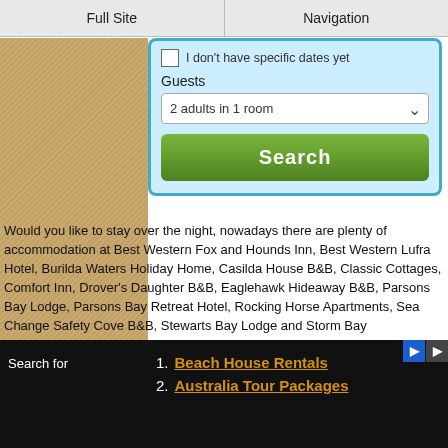Full Site | Navigation
[Figure (screenshot): Hotel search widget with checkbox 'I don't have specific dates yet', Guests dropdown '2 adults in 1 room', and green Search button]
Would you like to stay over the night, nowadays there are plenty of accommodation at Best Western Fox and Hounds Inn, Best Western Lufra Hotel, Burilda Waters Holiday Home, Casilda House B&B, Classic Cottages, Comfort Inn, Drover's Daughter B&B, Eaglehawk Hideaway B&B, Parsons Bay Lodge, Parsons Bay Retreat Hotel, Rocking Horse Apartments, Sea Change Safety Cove B&B, Stewarts Bay Lodge and Storm Bay Guesthouse.
[Figure (photo): Smith O'Brien's Exile Cottage at Port Arthur Historic Site, Tasmania, Australia]
Poster by AllPosters. Click on thumbnail to buy.
Tasmanian Devils and Tasmanian Devil Park
On the way to Port Arthur there are a few interesting rock formations, and the Tasman National Park. Nearby is also the Tasmanian Devil Park where you can watch Tasmanian Devils, kangaroos, birds of prey and other Australian animals.
1. Beach House Rentals
2. Australia Tour Packages
Search for